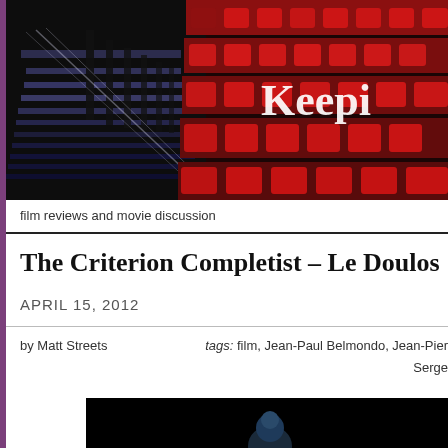[Figure (photo): Cinema theater interior with rows of red seats and illuminated aisle steps, with text 'Keepi' partially visible in white serif font on the right side]
film reviews and movie discussion
The Criterion Completist – Le Doulos
APRIL 15, 2012
by Matt Streets    tags: film, Jean-Paul Belmondo, Jean-Pier... Serge...
[Figure (photo): Bottom partial image, dark/black background with a small partial figure visible]